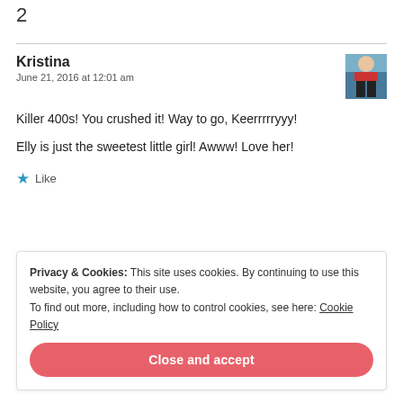2
Kristina
June 21, 2016 at 12:01 am
[Figure (photo): Small avatar photo of a person running in a race, wearing a red top.]
Killer 400s! You crushed it! Way to go, Keerrrrryyy!
Elly is just the sweetest little girl! Awww! Love her!
★ Like
Privacy & Cookies: This site uses cookies. By continuing to use this website, you agree to their use.
To find out more, including how to control cookies, see here: Cookie Policy
Close and accept